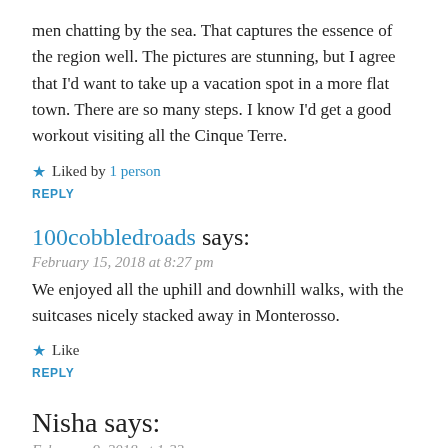men chatting by the sea. That captures the essence of the region well. The pictures are stunning, but I agree that I'd want to take up a vacation spot in a more flat town. There are so many steps. I know I'd get a good workout visiting all the Cinque Terre.
★ Liked by 1 person
REPLY
100cobbledroads says:
February 15, 2018 at 8:27 pm
We enjoyed all the uphill and downhill walks, with the suitcases nicely stacked away in Monterosso.
★ Like
REPLY
Nisha says:
February 9, 2018 at 1:33 pm